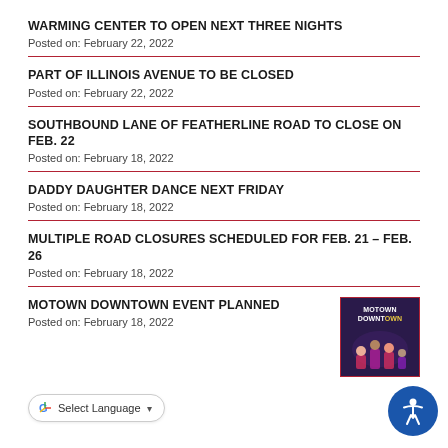WARMING CENTER TO OPEN NEXT THREE NIGHTS
Posted on: February 22, 2022
PART OF ILLINOIS AVENUE TO BE CLOSED
Posted on: February 22, 2022
SOUTHBOUND LANE OF FEATHERLINE ROAD TO CLOSE ON FEB. 22
Posted on: February 18, 2022
DADDY DAUGHTER DANCE NEXT FRIDAY
Posted on: February 18, 2022
MULTIPLE ROAD CLOSURES SCHEDULED FOR FEB. 21 – FEB. 26
Posted on: February 18, 2022
MOTOWN DOWNTOWN EVENT PLANNED
Posted on: February 18, 2022
[Figure (photo): Motown Downtown event flyer thumbnail showing performers on stage with purple background]